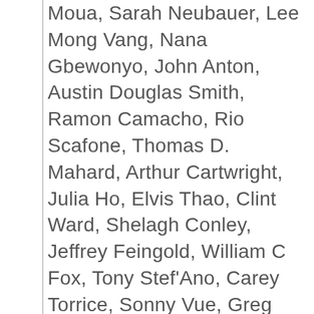Moua, Sarah Neubauer, Lee Mong Vang, Nana Gbewonyo, John Anton, Austin Douglas Smith, Ramon Camacho, Rio Scafone, Thomas D. Mahard, Arthur Cartwright, Julia Ho, Elvis Thao, Clint Ward, Shelagh Conley, Jeffrey Feingold, William C Fox, Tony Stef'Ano, Carey Torrice, Sonny Vue, Greg Trzaskoma, John Johns, Davis Gloff, Conor Liam Callaghan, Michael E. Kurowski, Maykao K. Lytongpao, Carlos Guadarrama, Andrew Tamez-Hull, Antonio Mireles, Tru Hang, Marty Bufalini, My-Ishia Cason-Brown, Rochelle Winter, Claudia Rodgers, Darline Bucchare, Arnold Montey, Jeffrey Scott Basham